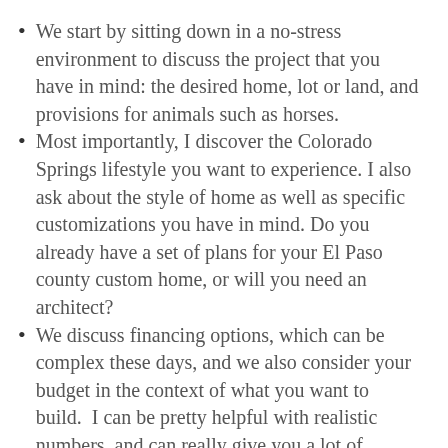We start by sitting down in a no-stress environment to discuss the project that you have in mind: the desired home, lot or land, and provisions for animals such as horses.
Most importantly, I discover the Colorado Springs lifestyle you want to experience. I also ask about the style of home as well as specific customizations you have in mind. Do you already have a set of plans for your El Paso county custom home, or will you need an architect?
We discuss financing options, which can be complex these days, and we also consider your budget in the context of what you want to build.  I can be pretty helpful with realistic numbers, and can really give you a lot of insight in seeing how the costs all relate to them. While this is not…